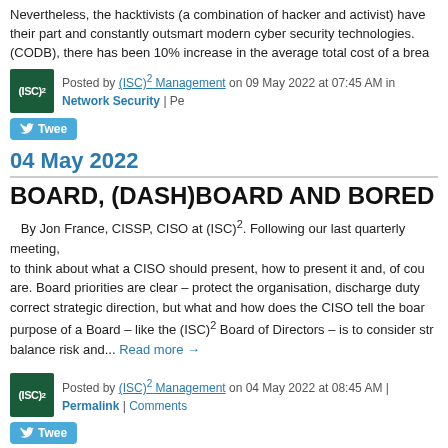Nevertheless, the hacktivists (a combination of hacker and activist) have their part and constantly outsmart modern cyber security technologies. (CODB), there has been 10% increase in the average total cost of a brea
Posted by (ISC)² Management on 09 May 2022 at 07:45 AM in Network Security | Pe
Tweet
04 May 2022
BOARD, (DASH)BOARD AND BORED
By Jon France, CISSP, CISO at (ISC)². Following our last quarterly meeting, to think about what a CISO should present, how to present it and, of cou are. Board priorities are clear – protect the organisation, discharge duty correct strategic direction, but what and how does the CISO tell the boar purpose of a Board – like the (ISC)² Board of Directors – is to consider str balance risk and... Read more →
Posted by (ISC)² Management on 04 May 2022 at 08:45 AM | Permalink | Comments
Tweet
03 May 2022